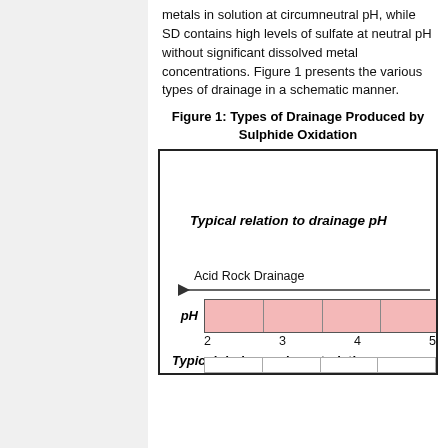metals in solution at circumneutral pH, while SD contains high levels of sulfate at neutral pH without significant dissolved metal concentrations. Figure 1 presents the various types of drainage in a schematic manner.
Figure 1: Types of Drainage Produced by Sulphide Oxidation
[Figure (schematic): Schematic diagram showing types of drainage produced by sulphide oxidation. Shows a pH scale bar from 2 to 5+ with pink shading for Acid Rock Drainage range, with label 'Typical relation to drainage pH' and 'Typical drainage characteristics' at the bottom.]